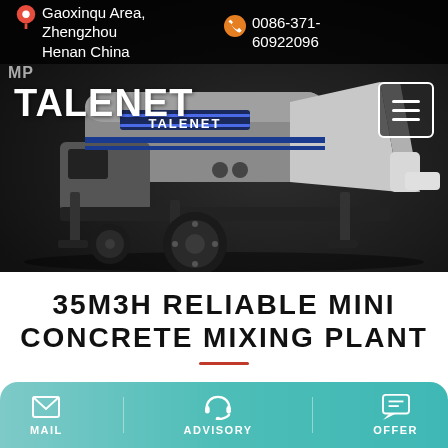📍 Gaoxinqu Area, Zhengzhou Henan China   📞 0086-371-60922096
[Figure (photo): Industrial concrete pump / concrete mixing plant machinery on wheels with TALENET branding, shown on dark background. Machine is grey/white with black wheels and a hopper on the right side.]
MP
TALENET
35M3H RELIABLE MINI CONCRETE MIXING PLANT
MAIL   ADVISORY   OFFER